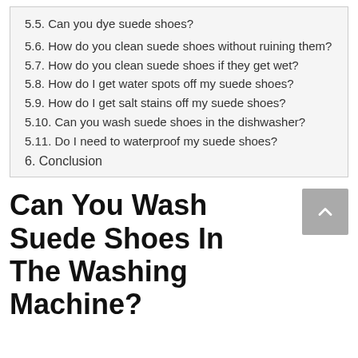5.5. Can you dye suede shoes?
5.6. How do you clean suede shoes without ruining them?
5.7. How do you clean suede shoes if they get wet?
5.8. How do I get water spots off my suede shoes?
5.9. How do I get salt stains off my suede shoes?
5.10. Can you wash suede shoes in the dishwasher?
5.11. Do I need to waterproof my suede shoes?
6. Conclusion
Can You Wash Suede Shoes In The Washing Machine?